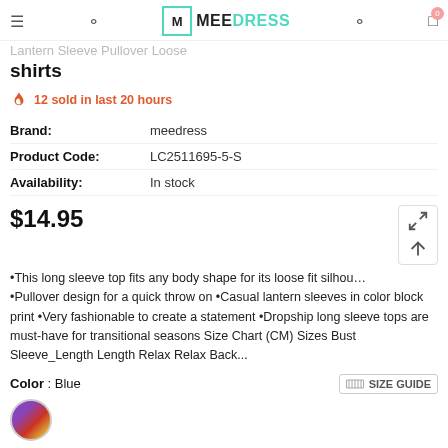MEE DRESS — hamburger, search, user, cart (0)
Lantern Sleeve Pullover Loose shirts
12 sold in last 20 hours
| Field | Value |
| --- | --- |
| Brand: | meedress |
| Product Code: | LC2511695-5-S |
| Availability: | In stock |
$14.95
•This long sleeve top fits any body shape for its loose fit silhou… •Pullover design for a quick throw on •Casual lantern sleeves in color block print •Very fashionable to create a statement •Dropship long sleeve tops are must-have for transitional seasons Size Chart (CM) Sizes Bust Sleeve_Length Length Relax Relax Back...
Color : Blue
SIZE GUIDE